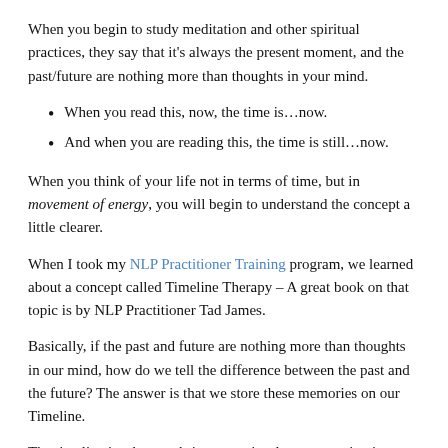When you begin to study meditation and other spiritual practices, they say that it's always the present moment, and the past/future are nothing more than thoughts in your mind.
When you read this, now, the time is…now.
And when you are reading this, the time is still…now.
When you think of your life not in terms of time, but in movement of energy, you will begin to understand the concept a little clearer.
When I took my NLP Practitioner Training program, we learned about a concept called Timeline Therapy – A great book on that topic is by NLP Practitioner Tad James.
Basically, if the past and future are nothing more than thoughts in our mind, how do we tell the difference between the past and the future? The answer is that we store these memories on our Timeline.
The timeline is when we bring up a visual representation in our imagination about a past or future event, and we notice that they